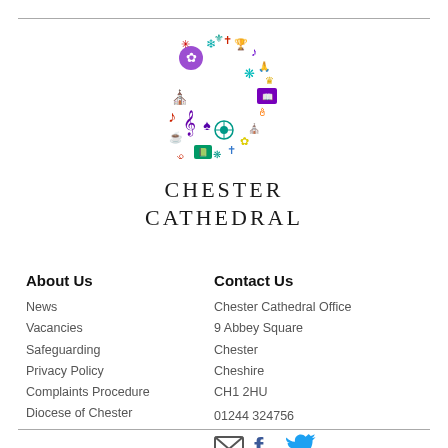[Figure (logo): Chester Cathedral colorful C-shaped logo made of religious and cultural icons]
CHESTER CATHEDRAL
About Us
News
Vacancies
Safeguarding
Privacy Policy
Complaints Procedure
Diocese of Chester
Contact Us
Chester Cathedral Office
9 Abbey Square
Chester
Cheshire
CH1 2HU

01244 324756
[Figure (illustration): Email, Facebook, and Twitter social media icons]